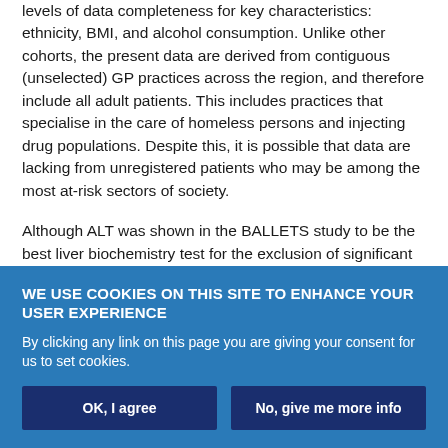levels of data completeness for key characteristics: ethnicity, BMI, and alcohol consumption. Unlike other cohorts, the present data are derived from contiguous (unselected) GP practices across the region, and therefore include all adult patients. This includes practices that specialise in the care of homeless persons and injecting drug populations. Despite this, it is possible that data are lacking from unregistered patients who may be among the most at-risk sectors of society.
Although ALT was shown in the BALLETS study to be the best liver biochemistry test for the exclusion of significant hepatocellular disease.26 by focusing on transaminases and not alkaline
WE USE COOKIES ON THIS SITE TO ENHANCE YOUR USER EXPERIENCE
By clicking any link on this page you are giving your consent for us to set cookies.